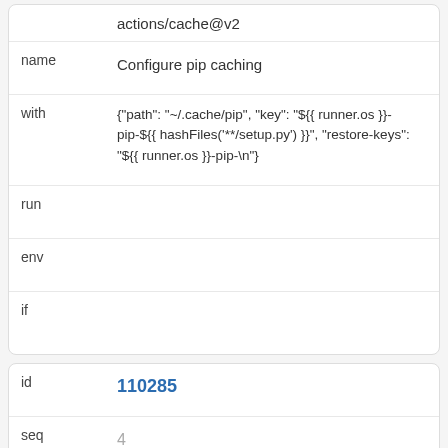|  | actions/cache@v2 |
| name | Configure pip caching |
| with | {"path": "~/.cache/pip", "key": "${{ runner.os }}-pip-${{ hashFiles('**/setup.py') }}", "restore-keys": "${{ runner.os }}-pip-\n"} |
| run |  |
| env |  |
| if |  |
| id | 110285 |
| seq | 4 |
| job | test 22141 |